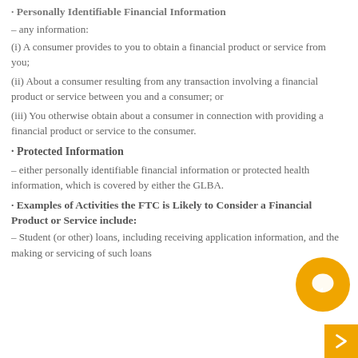· Personally Identifiable Financial Information
– any information:
(i) A consumer provides to you to obtain a financial product or service from you;
(ii) About a consumer resulting from any transaction involving a financial product or service between you and a consumer; or
(iii) You otherwise obtain about a consumer in connection with providing a financial product or service to the consumer.
· Protected Information
– either personally identifiable financial information or protected health information, which is covered by either the GLBA.
· Examples of Activities the FTC is Likely to Consider a Financial Product or Service include:
– Student (or other) loans, including receiving application information, and the making or servicing of such loans